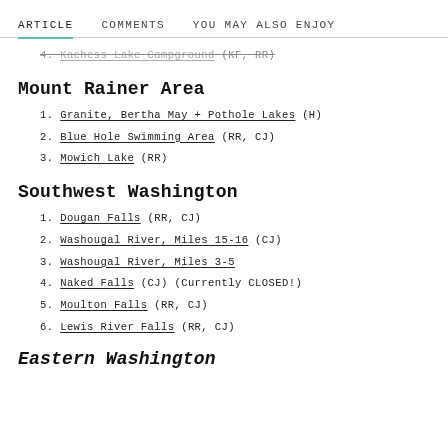ARTICLE   COMMENTS   YOU MAY ALSO ENJOY
4. Kachess Lake Campground (KF, RR)
Mount Rainer Area
1. Granite, Bertha May + Pothole Lakes (H)
2. Blue Hole Swimming Area (RR, CJ)
3. Mowich Lake (RR)
Southwest Washington
1. Dougan Falls (RR, CJ)
2. Washougal River, Miles 15-16 (CJ)
3. Washougal River, Miles 3-5
4. Naked Falls (CJ) (Currently CLOSED!)
5. Moulton Falls (RR, CJ)
6. Lewis River Falls (RR, CJ)
Eastern Washington